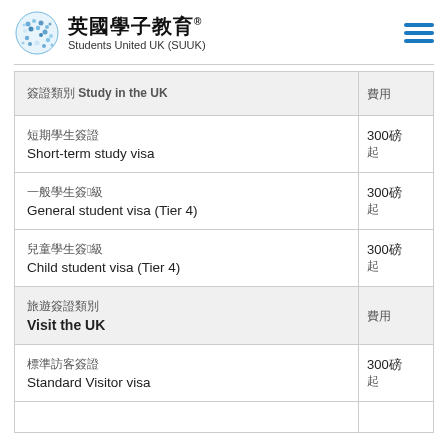英國學子教育® Students United UK (SUUK)
| 簽證類別 Study in the UK | 費用 |
| --- | --- |
| 短期學生簽證
Short-term study visa | 300磅 |
| 一般學生簽證4級
General student visa (Tier 4) | 300磅 |
| 兒童學生簽證4級
Child student visa (Tier 4) | 300磅 |
| 旅遊簽證類別
Visit the UK | 費用 |
| 標準訪客簽證
Standard Visitor visa | 300磅 |